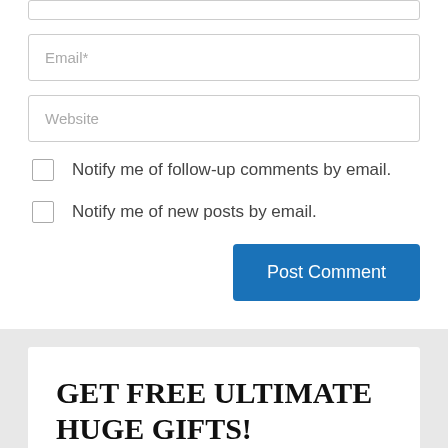Email*
Website
Notify me of follow-up comments by email.
Notify me of new posts by email.
Post Comment
GET FREE ULTIMATE HUGE GIFTS!
[Figure (illustration): Teal/cyan colored banner at the bottom of the page, partially visible]